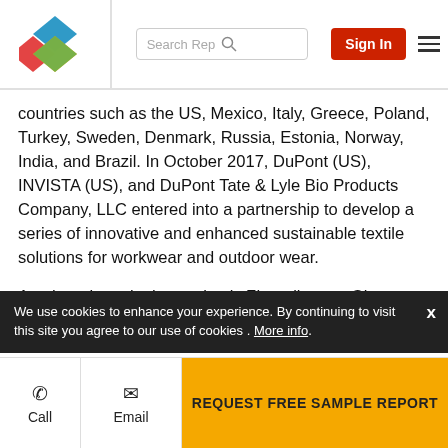Search Rep | Sign In | [logo] [hamburger menu]
countries such as the US, Mexico, Italy, Greece, Poland, Turkey, Sweden, Denmark, Russia, Estonia, Norway, India, and Brazil. In October 2017, DuPont (US), INVISTA (US), and DuPont Tate & Lyle Bio Products Company, LLC entered into a partnership to develop a series of innovative and enhanced sustainable textile solutions for workwear and outdoor wear.
Another player in the market is Zhangjiagang Glory Biomaterial Co., Ltd. (China), which focuses on increasing the production capacity of 1,3-propanediol. The company started the 1,3-propanediol program in 2011. The company plans to combine the 1,3-propanediol plant and PTT plant ...its profit.
We use cookies to enhance your experience. By continuing to visit this site you agree to our use of cookies . More info.
Call | Email | REQUEST FREE SAMPLE REPORT